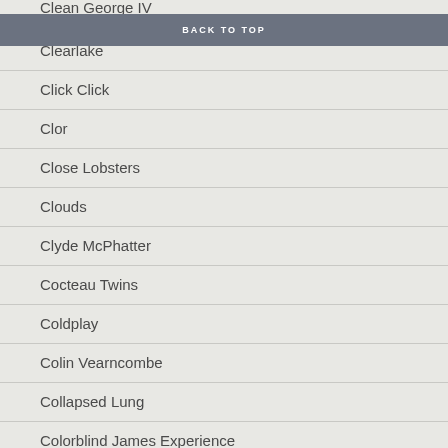Clean George IV
BACK TO TOP
Clearlake
Click Click
Clor
Close Lobsters
Clouds
Clyde McPhatter
Cocteau Twins
Coldplay
Colin Vearncombe
Collapsed Lung
Colorblind James Experience
Colourbox